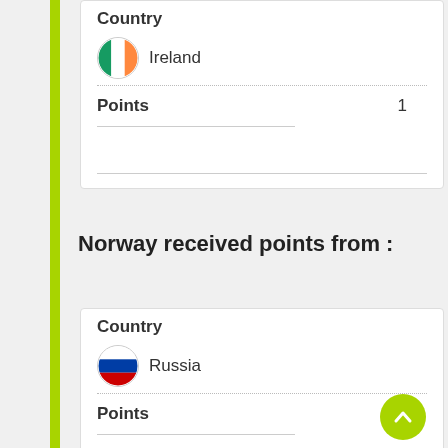| Country |  |
| --- | --- |
| Ireland |  |
| Points | 1 |
Norway received points from :
| Country |  |
| --- | --- |
| Russia |  |
| Points | 12 |